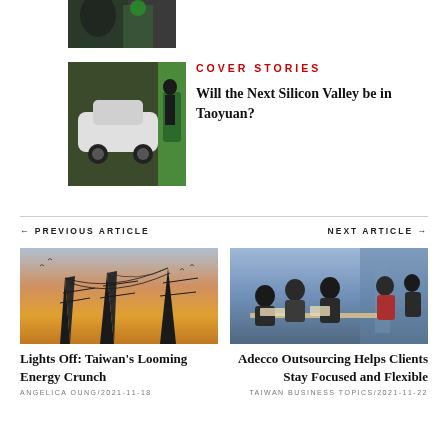[Figure (photo): Partial cropped photo at top showing a figure near green EV charging station]
[Figure (photo): Photo of a white car at a green EV charging station with a person standing nearby]
COVER STORIES
Will the Next Silicon Valley be in Taoyuan?
← PREVIOUS ARTICLE
NEXT ARTICLE →
[Figure (photo): Photo of electricity transmission towers/pylons against an orange and purple sunset sky]
Lights Off: Taiwan's Looming Energy Crunch
ANGELICA OUNG/2021-11-18
[Figure (photo): Photo of a group of business people sitting around a table in discussion]
Adecco Outsourcing Helps Clients Stay Focused and Flexible
TAIWAN BUSINESS TOPICS/2021-11-22